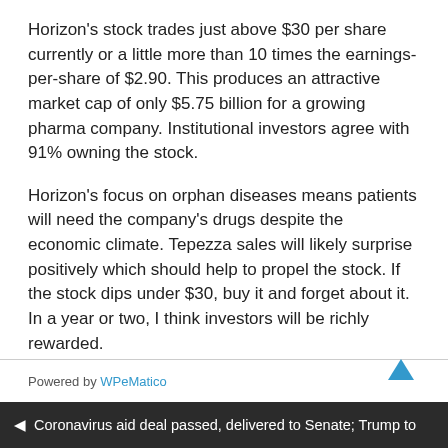Horizon's stock trades just above $30 per share currently or a little more than 10 times the earnings-per-share of $2.90. This produces an attractive market cap of only $5.75 billion for a growing pharma company. Institutional investors agree with 91% owning the stock.
Horizon's focus on orphan diseases means patients will need the company's drugs despite the economic climate. Tepezza sales will likely surprise positively which should help to propel the stock. If the stock dips under $30, buy it and forget about it. In a year or two, I think investors will be richly rewarded.
Powered by WPeMatico
◄ Coronavirus aid deal passed, delivered to Senate; Trump to